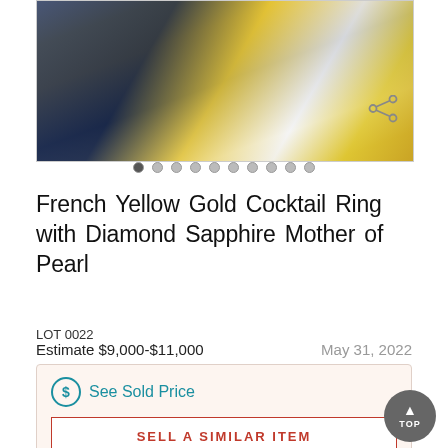[Figure (photo): Close-up photo of a French Yellow Gold Cocktail Ring with Diamond Sapphire Mother of Pearl, showing gold band with blue sapphire and white mother of pearl inlay and small diamonds]
French Yellow Gold Cocktail Ring with Diamond Sapphire Mother of Pearl
LOT 0022
Estimate $9,000-$11,000    May 31, 2022
See Sold Price
SELL A SIMILAR ITEM